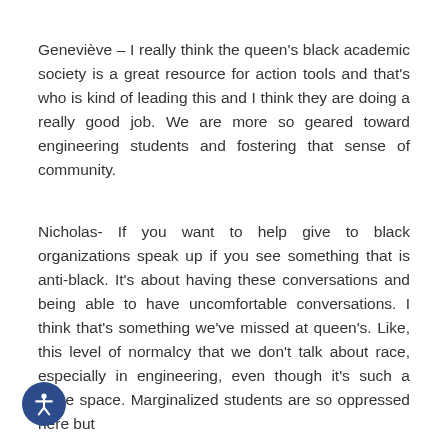Geneviève – I really think the queen's black academic society is a great resource for action tools and that's who is kind of leading this and I think they are doing a really good job. We are more so geared toward engineering students and fostering that sense of community.
Nicholas- If you want to help give to black organizations speak up if you see something that is anti-black. It's about having these conversations and being able to have uncomfortable conversations. I think that's something we've missed at queen's. Like, this level of normalcy that we don't talk about race, especially in engineering, even though it's such a white space. Marginalized students are so oppressed here but